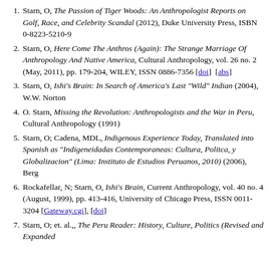Starn, O, The Passion of Tiger Woods: An Anthropologist Reports on Golf, Race, and Celebrity Scandal (2012), Duke University Press, ISBN 0-8223-5210-9
Starn, O, Here Come The Anthros (Again): The Strange Marriage Of Anthropology And Native America, Cultural Anthropology, vol. 26 no. 2 (May, 2011), pp. 179-204, WILEY, ISSN 0886-7356 [doi] [abs]
Starn, O, Ishi's Brain: In Search of America's Last "Wild" Indian (2004), W.W. Norton
O. Starn, Missing the Revolution: Anthropologists and the War in Peru, Cultural Anthropology (1991)
Starn, O; Cadena, MDL, Indigenous Experience Today, Translated into Spanish as "Indigeneidadas Contemporaneas: Cultura, Politca, y Globalizacion" (Lima: Instituto de Estudios Peruanos, 2010) (2006), Berg
Rockafellar, N; Starn, O, Ishi's Brain, Current Anthropology, vol. 40 no. 4 (August, 1999), pp. 413-416, University of Chicago Press, ISSN 0011-3204 [Gateway.cgi], [doi]
Starn, O; et. al.,, The Peru Reader: History, Culture, Politics (Revised and Expanded